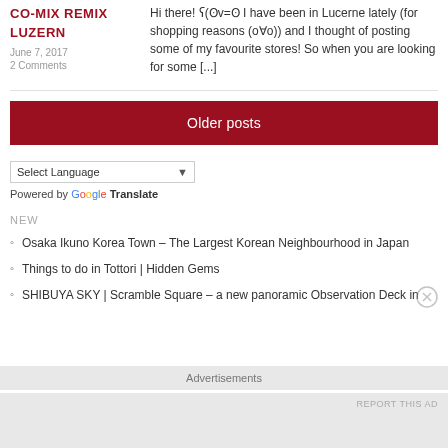CO-MIX REMIX LUZERN
June 7, 2017
2 Comments
Hi there! ʕ(ʘv=ʘ I have been in Lucerne lately (for shopping reasons (o∀o)) and I thought of posting some of my favourite stores! So when you are looking for some [...]
Older posts
Select Language
Powered by Google Translate
NEW
Osaka Ikuno Korea Town – The Largest Korean Neighbourhood in Japan
Things to do in Tottori | Hidden Gems
SHIBUYA SKY | Scramble Square – a new panoramic Observation Deck in
Advertisements